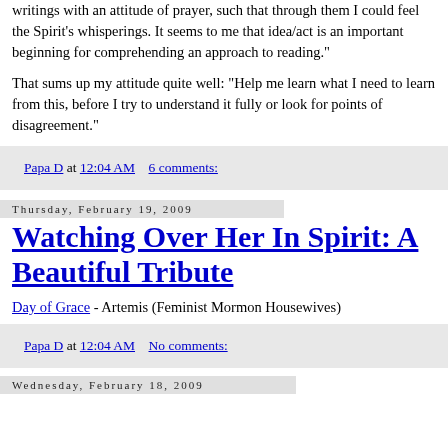writings with an attitude of prayer, such that through them I could feel the Spirit's whisperings. It seems to me that idea/act is an important beginning for comprehending an approach to reading."
That sums up my attitude quite well: "Help me learn what I need to learn from this, before I try to understand it fully or look for points of disagreement."
Papa D at 12:04 AM    6 comments:
Thursday, February 19, 2009
Watching Over Her In Spirit: A Beautiful Tribute
Day of Grace - Artemis (Feminist Mormon Housewives)
Papa D at 12:04 AM    No comments:
Wednesday, February 18, 2009